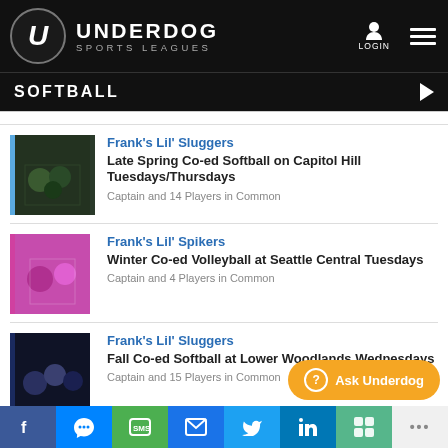UNDERDOG SPORTS LEAGUES
SOFTBALL
Frank's Lil' Sluggers
Late Spring Co-ed Softball on Capitol Hill Tuesdays/Thursdays
Captain and 14 Players in Common
Frank's Lil' Spikers
Winter Co-ed Volleyball at Seattle Central Tuesdays
Captain and 4 Players in Common
Frank's Lil' Sluggers
Fall Co-ed Softball at Lower Woodlands Wednesdays
Captain and 15 Players in Common
Beach Spikers
Late Summer Co-ed Beach Voll...
f | messenger | SMS | mail | twitter | linkedin | slack | ...